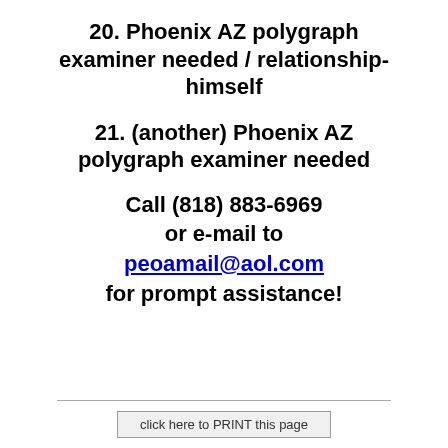20. Phoenix AZ polygraph examiner needed / relationship-himself
21. (another) Phoenix AZ polygraph examiner needed
Call (818) 883-6969
or e-mail to
peoamail@aol.com
for prompt assistance!
click here to PRINT this page